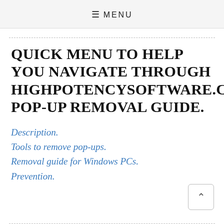≡ MENU
QUICK MENU TO HELP YOU NAVIGATE THROUGH HIGHPOTENCYSOFTWARE.COM POP-UP REMOVAL GUIDE.
Description.
Tools to remove pop-ups.
Removal guide for Windows PCs.
Prevention.